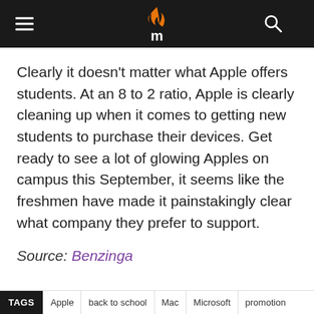m (logo header with hamburger menu and search icon)
Clearly it doesn't matter what Apple offers students. At an 8 to 2 ratio, Apple is clearly cleaning up when it comes to getting new students to purchase their devices. Get ready to see a lot of glowing Apples on campus this September, it seems like the freshmen have made it painstakingly clear what company they prefer to support.
Source: Benzinga
TAGS  Apple  back to school  Mac  Microsoft  promotion